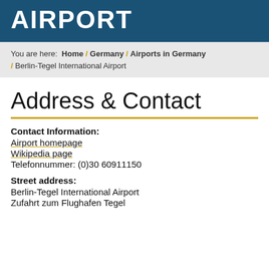AIRPORT
You are here: Home / Germany / Airports in Germany / Berlin-Tegel International Airport
Address & Contact
Contact Information:
Airport homepage
Wikipedia page
Telefonnummer: (0)30 60911150
Street address:
Berlin-Tegel International Airport
Zufahrt zum Flughafen Tegel